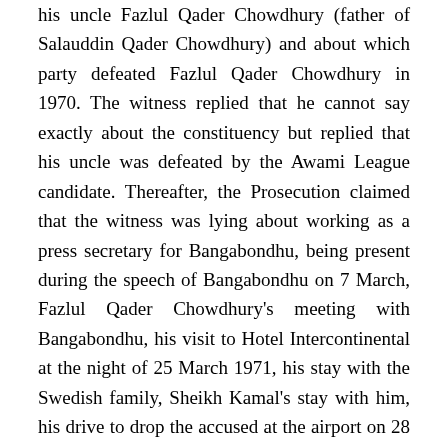his uncle Fazlul Qader Chowdhury (father of Salauddin Qader Chowdhury) and about which party defeated Fazlul Qader Chowdhury in 1970. The witness replied that he cannot say exactly about the constituency but replied that his uncle was defeated by the Awami League candidate. Thereafter, the Prosecution claimed that the witness was lying about working as a press secretary for Bangabondhu, being present during the speech of Bangabondhu on 7 March, Fazlul Qader Chowdhury's meeting with Bangabondhu, his visit to Hotel Intercontinental at the night of 25 March 1971, his stay with the Swedish family, Sheikh Kamal's stay with him, his drive to drop the accused at the airport on 28 March, and Chowdhury's visit to the house of Salman F Rahman. The witness replied that he testified truthfully.
The Prosecution claimed that since the family members of